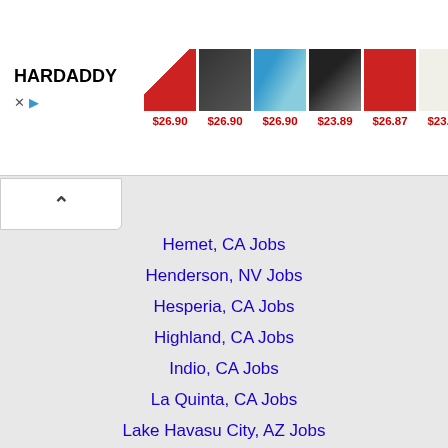[Figure (screenshot): HARDADDY clothing advertisement banner with 6 product images (hoodies and shirts) with red prices: $26.90, $26.90, $26.90, $23.89, $26.87, $23.14. Has X close button and play icon below logo.]
Hemet, CA Jobs
Henderson, NV Jobs
Hesperia, CA Jobs
Highland, CA Jobs
Indio, CA Jobs
La Quinta, CA Jobs
Lake Havasu City, AZ Jobs
Moreno Valley, CA Jobs
Ontario, CA Jobs
Palm Desert, CA Jobs
Palm Springs, CA Jobs
Paradise, NV Jobs
Redlands, CA Jobs
Rialto, CA Jobs